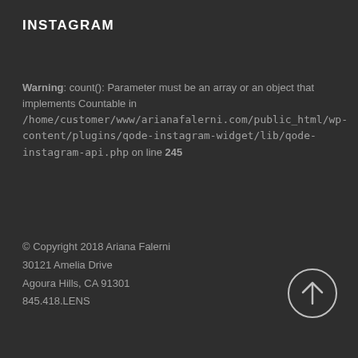INSTAGRAM
Warning: count(): Parameter must be an array or an object that implements Countable in /home/customer/www/arianafalerni.com/public_html/wp-content/plugins/qode-instagram-widget/lib/qode-instagram-api.php on line 245
© Copyright 2018 Ariana Falerni
30121 Amelia Drive
Agoura Hills, CA 91301
845.418.LENS
[Figure (illustration): Circular up-arrow scroll-to-top button with white border and white upward arrow icon on dark background]